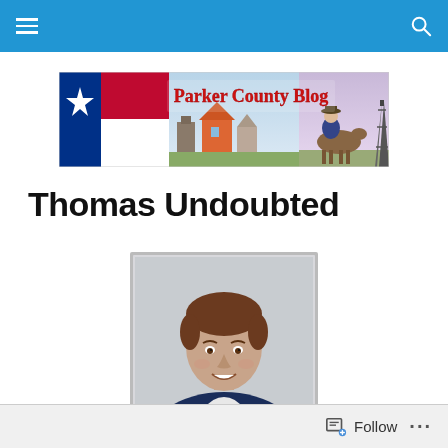Navigation bar with menu and search icons
[Figure (illustration): Parker County Blog banner with Texas flag on left, red text 'Parker County Blog' in center, historical buildings, cowboy on horseback, and oil derrick on right]
Thomas Undoubted
[Figure (photo): Professional headshot of a man in a dark blue suit jacket with white shirt, brown hair, smiling, against a light gray background]
Follow ···